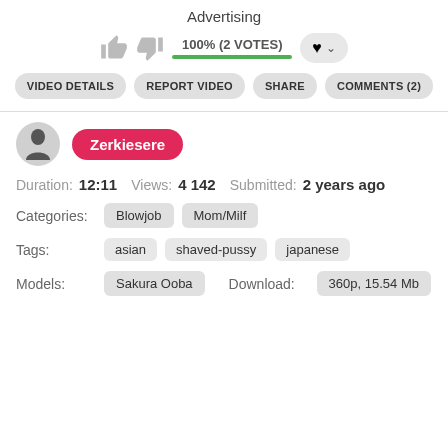Advertising
100% (2 VOTES)
VIDEO DETAILS   REPORT VIDEO   SHARE   COMMENTS (2)
Zerkiesere
Duration: 12:11   Views: 4 142   Submitted: 2 years ago
Categories: Blowjob  Mom/Milf
Tags: asian  shaved-pussy  japanese
Models: Sakura Ooba   Download: 360p, 15.54 Mb